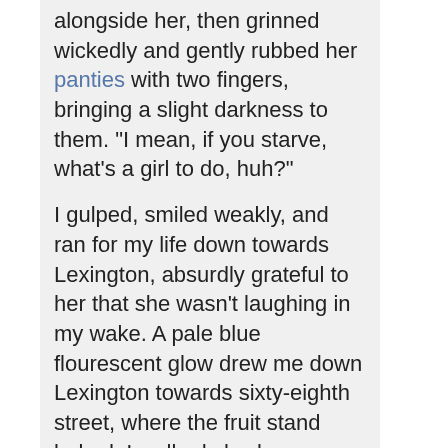alongside her, then grinned wickedly and gently rubbed her panties with two fingers, bringing a slight darkness to them. "I mean, if you starve, what's a girl to do, huh?"
I gulped, smiled weakly, and ran for my life down towards Lexington, absurdly grateful to her that she wasn't laughing in my wake. A pale blue flourescent glow drew me down Lexington towards sixty-eighth street, where the fruit stand lurked. I walked slowly, conserving energy; lifting the manhole had almost drained me entirely. There was a man in a tan winter coat, with a dark brown collar, shucking peas outside the fruit